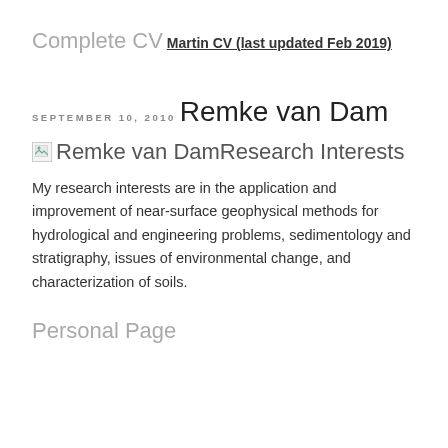Complete CV
Martin CV (last updated Feb 2019)
SEPTEMBER 10, 2010
Remke van Dam
[Figure (photo): Broken image icon followed by text 'Remke van DamResearch Interests']
My research interests are in the application and improvement of near-surface geophysical methods for hydrological and engineering problems, sedimentology and stratigraphy, issues of environmental change, and characterization of soils.
Personal Page